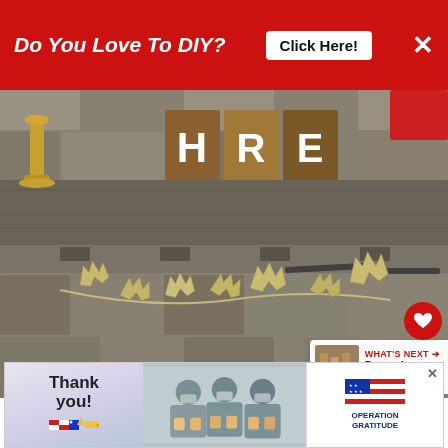[Figure (screenshot): Red banner advertisement at top: 'Do You Love To DIY?' with 'Click Here!' white button and X close button on red background]
[Figure (photo): Close-up photo of a rustic wooden mantel shelf with stone fireplace background. A brass candlestick and wooden block letters are on the shelf. Dried autumn leaf garland hangs from the mantel edge. Heart and share buttons visible on right edge. 'WHAT'S NEXT' panel in bottom right showing December Decor thumbnail.]
living room, and...
[Figure (screenshot): Bottom advertisement banner: 'Thank you!' text with American flag pencil graphic on left panel, photo of masked healthcare workers holding boxes in center, and Operation Gratitude logo on right. X close button in top right corner.]